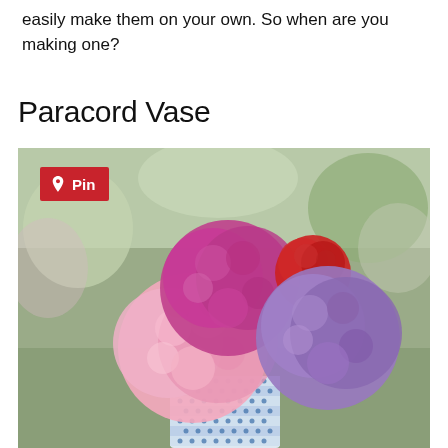easily make them on your own. So when are you making one?
Paracord Vase
[Figure (photo): A vase wrapped in blue and white checkered paracord, holding large fluffy yarn pom-poms in pink, magenta, red, and purple colors, photographed outdoors with a blurred colorful background. A red Pinterest 'Pin' button overlays the upper left corner of the image.]